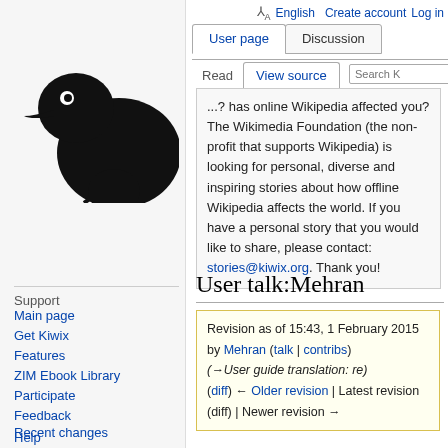English  Create account  Log in
[Figure (logo): Kiwix kiwi bird logo in black silhouette]
Main page
Get Kiwix
Features
ZIM Ebook Library
Participate
Feedback
Recent changes
Official Web Site
Support
...? has online Wikipedia affected you? The Wikimedia Foundation (the non-profit that supports Wikipedia) is looking for personal, diverse and inspiring stories about how offline Wikipedia affects the world. If you have a personal story that you would like to share, please contact: stories@kiwix.org. Thank you!
User talk:Mehran
Revision as of 15:43, 1 February 2015 by Mehran (talk | contribs) (→User guide translation: re) (diff) ← Older revision | Latest revision (diff) | Newer revision →